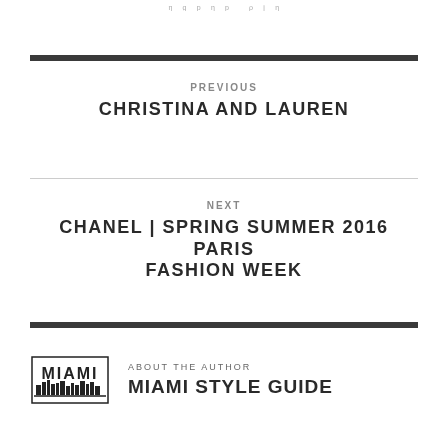η   g   p   η   p       ρ   j   η
PREVIOUS
CHRISTINA AND LAUREN
NEXT
CHANEL | SPRING SUMMER 2016 PARIS FASHION WEEK
ABOUT THE AUTHOR
MIAMI STYLE GUIDE
[Figure (logo): Miami Style Guide logo with city skyline silhouette text]